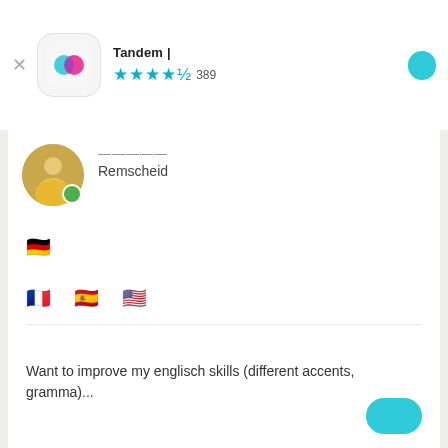Tandem | 언어교환 파트너 찾기 — ★★★★½ 389개
Remscheid
모국어
🇩🇪 독일어
학습 언어
🇫🇷 프랑스어  🇪🇸 스페인어  🇺🇸 영어
자기소개
Want to improve my englisch skills (different accents, gramma)...더 보기